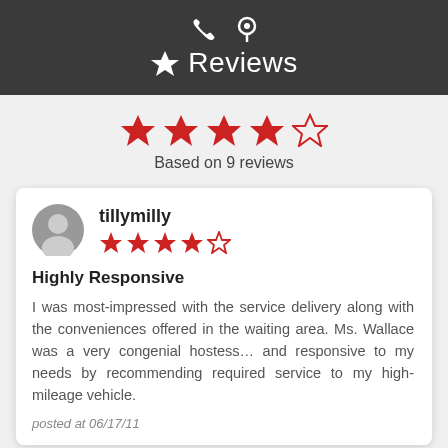Reviews
Based on 9 reviews
tillymilly — 4.5 stars — Highly Responsive — I was most-impressed with the service delivery along with the conveniences offered in the waiting area. Ms. Wallace was a very congenial hostess... and responsive to my needs by recommending required service to my high-mileage vehicle. — posted at 06/17/11